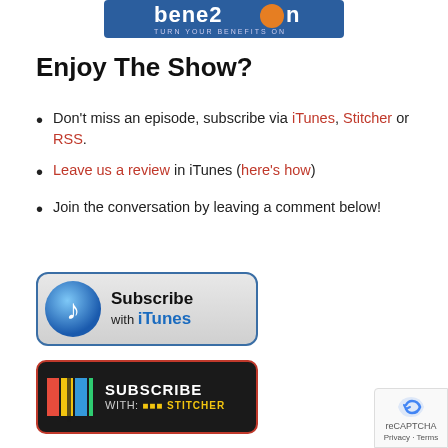[Figure (logo): Benezon 'Turn Your Benefits On' logo banner, blue background with orange and white text]
Enjoy The Show?
Don't miss an episode, subscribe via iTunes, Stitcher or RSS.
Leave us a review in iTunes (here's how)
Join the conversation by leaving a comment below!
[Figure (illustration): Subscribe with iTunes button — rounded rectangle with blue border, music note icon, text 'Subscribe with iTunes']
[Figure (illustration): Subscribe with Stitcher button — rounded rectangle with red border, dark background, colorful icon, text 'SUBSCRIBE WITH: STITCHER']